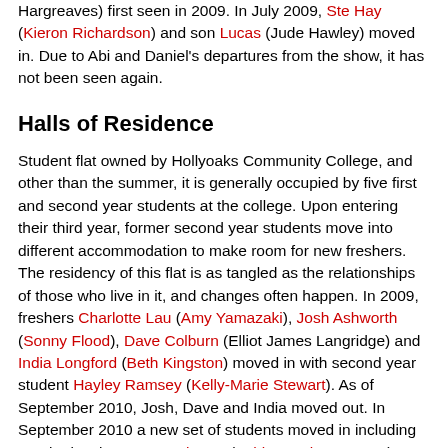Hargreaves) first seen in 2009. In July 2009, Ste Hay (Kieron Richardson) and son Lucas (Jude Hawley) moved in. Due to Abi and Daniel's departures from the show, it has not been seen again.
Halls of Residence
Student flat owned by Hollyoaks Community College, and other than the summer, it is generally occupied by five first and second year students at the college. Upon entering their third year, former second year students move into different accommodation to make room for new freshers. The residency of this flat is as tangled as the relationships of those who live in it, and changes often happen. In 2009, freshers Charlotte Lau (Amy Yamazaki), Josh Ashworth (Sonny Flood), Dave Colburn (Elliot James Langridge) and India Longford (Beth Kingston) moved in with second year student Hayley Ramsey (Kelly-Marie Stewart). As of September 2010, Josh, Dave and India moved out. In September 2010 a new set of students moved in including regular locals Darren Osborne (Ashley Taylor Dawson), Jem Costello (Helen Russell-Clark) and Kevin Smith (Cameron Crighton), new residents Doug Carter (PJ Brennan), Jamil Fadel (Sikander Malik) and Leanne Holiday